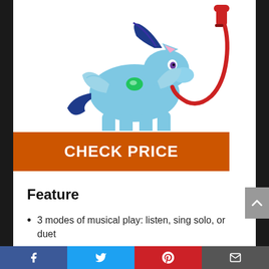[Figure (photo): My Little Pony Rainbow Dash figure toy, light blue colored pony with blue hair and wings, holding a red microphone/accessory, on white background]
CHECK PRICE
Feature
3 modes of musical play: listen, sing solo, or duet
Rainbow Dash figure sings 5 songs from entertainment
Press microphone button to sing
[Facebook] [Twitter] [Pinterest] [Email]